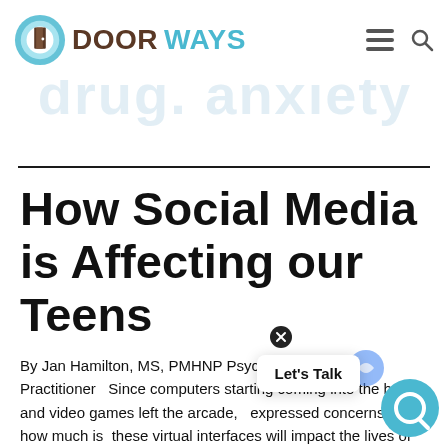DOORWAYS
[Figure (logo): Doorways logo with teal door icon and brand name DOORWAYS in brown and teal, navigation hamburger menu and search icons]
How Social Media is Affecting our Teens
By Jan Hamilton, MS, PMHNP Psychiatric Nurse Practitioner   Since computers starting coming into the home and video games left the arcade, expressed concerns about how much is these virtual interfaces will impact the lives of our children